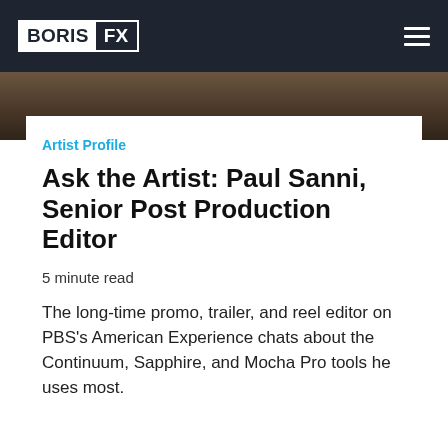BORIS FX
Artist Profile
Ask the Artist: Paul Sanni, Senior Post Production Editor
5 minute read
The long-time promo, trailer, and reel editor on PBS's American Experience chats about the Continuum, Sapphire, and Mocha Pro tools he uses most.